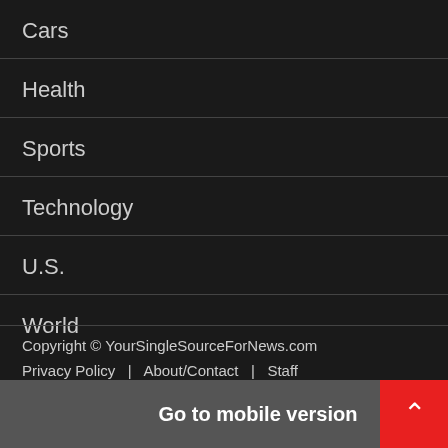Cars
Health
Sports
Technology
U.S.
World
Copyright © YourSingleSourceForNews.com
Privacy Policy  |  About/Contact  |  Staff
Go to mobile version